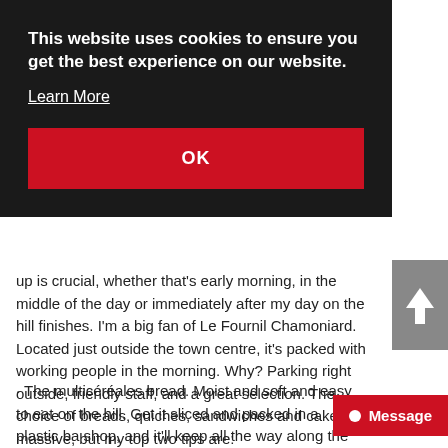[Figure (screenshot): Cookie consent overlay banner with dark background, showing message 'This website uses cookies to ensure you get the best experience on our website.', a 'Learn More' link, and a red OK button. Overlaid on a travel/food blog article.]
up is crucial, whether that's early morning, in the middle of the day or immediately after my day on the hill finishes. I'm a big fan of Le Fournil Chamoniard. Located just outside the town centre, it's packed with working people in the morning. Why? Parking right outside, friendly staff, and a great selection. The choice of breads, quiches, sandwiches and cakes is massive, but my top two tips are:
· The multicéréales bread. Moist and soft and easy to eat on the hill. Get it sliced and packed in a plastic ba shop, and it'll keep all the way along the Haute Route to